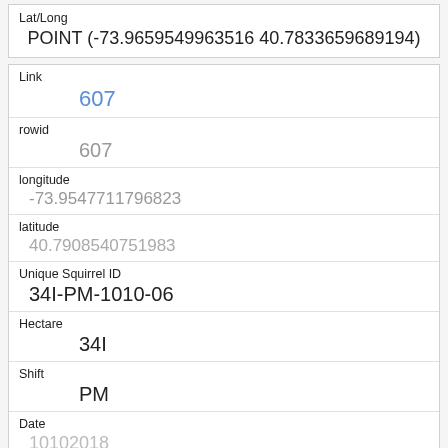| Field | Value |
| --- | --- |
| Lat/Long | POINT (-73.9659549963516 40.7833659689194) |
| Field | Value |
| --- | --- |
| Link | 607 |
| rowid | 607 |
| longitude | -73.9547711796823 |
| latitude | 40.7908540751983 |
| Unique Squirrel ID | 34I-PM-1010-06 |
| Hectare | 34I |
| Shift | PM |
| Date | 10102018 |